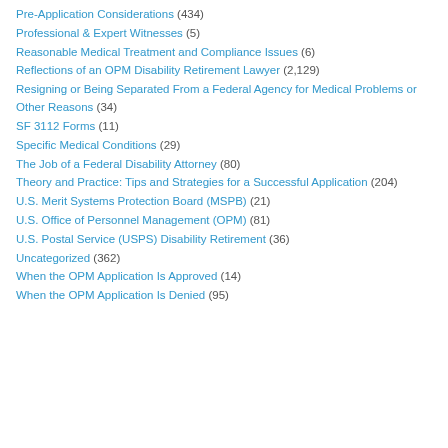Pre-Application Considerations (434)
Professional & Expert Witnesses (5)
Reasonable Medical Treatment and Compliance Issues (6)
Reflections of an OPM Disability Retirement Lawyer (2,129)
Resigning or Being Separated From a Federal Agency for Medical Problems or Other Reasons (34)
SF 3112 Forms (11)
Specific Medical Conditions (29)
The Job of a Federal Disability Attorney (80)
Theory and Practice: Tips and Strategies for a Successful Application (204)
U.S. Merit Systems Protection Board (MSPB) (21)
U.S. Office of Personnel Management (OPM) (81)
U.S. Postal Service (USPS) Disability Retirement (36)
Uncategorized (362)
When the OPM Application Is Approved (14)
When the OPM Application Is Denied (95)